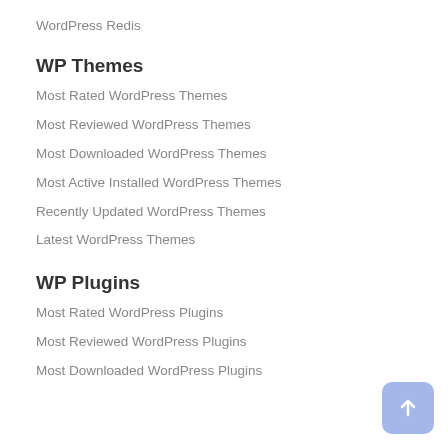WordPress Redis
WP Themes
Most Rated WordPress Themes
Most Reviewed WordPress Themes
Most Downloaded WordPress Themes
Most Active Installed WordPress Themes
Recently Updated WordPress Themes
Latest WordPress Themes
WP Plugins
Most Rated WordPress Plugins
Most Reviewed WordPress Plugins
Most Downloaded WordPress Plugins